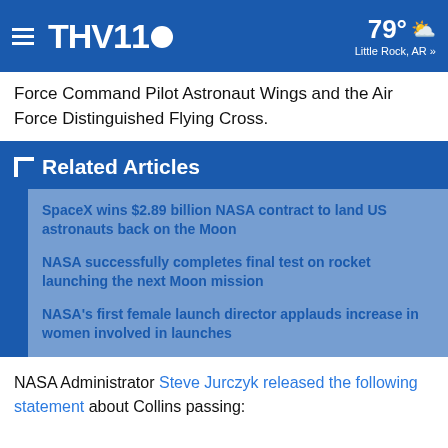THV11 | 79° Little Rock, AR »
Force Command Pilot Astronaut Wings and the Air Force Distinguished Flying Cross.
Related Articles
SpaceX wins $2.89 billion NASA contract to land US astronauts back on the Moon
NASA successfully completes final test on rocket launching the next Moon mission
NASA's first female launch director applauds increase in women involved in launches
NASA Administrator Steve Jurczyk released the following statement about Collins passing: